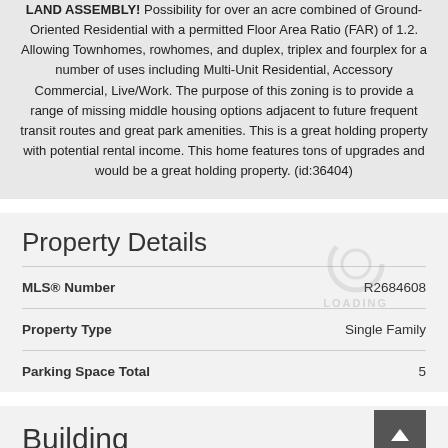LAND ASSEMBLY! Possibility for over an acre combined of Ground-Oriented Residential with a permitted Floor Area Ratio (FAR) of 1.2. Allowing Townhomes, rowhomes, and duplex, triplex and fourplex for a number of uses including Multi-Unit Residential, Accessory Commercial, Live/Work. The purpose of this zoning is to provide a range of missing middle housing options adjacent to future frequent transit routes and great park amenities. This is a great holding property with potential rental income. This home features tons of upgrades and would be a great holding property. (id:36404)
Property Details
| Field | Value |
| --- | --- |
| MLS® Number | R2684608 |
| Property Type | Single Family |
| Parking Space Total | 5 |
Building
| Field | Value |
| --- | --- |
| Bathroom Total | 2 |